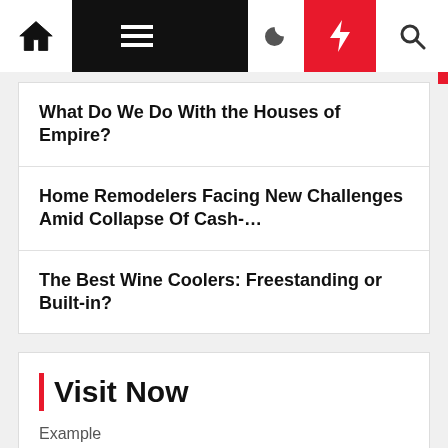Navigation bar with home, menu, moon, flash, search icons
What Do We Do With the Houses of Empire?
Home Remodelers Facing New Challenges Amid Collapse Of Cash-…
The Best Wine Coolers: Freestanding or Built-in?
Visit Now
Example
[Figure (logo): Intellifluence Trusted Blogger badge — circular blue badge with gold banner reading BLOGGER]